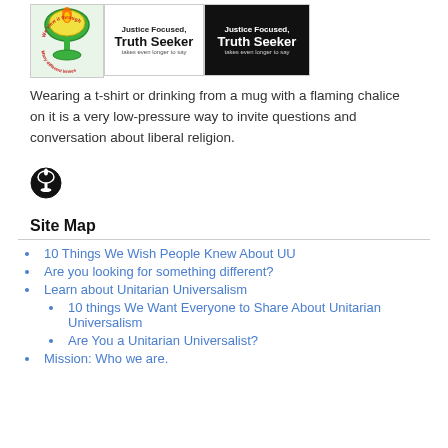[Figure (photo): Three images in a row: a colorful flaming chalice logo with text 'We view it through many different lenses', a white badge reading 'Justice Focused, Truth Seeker takes even longer to say', and a black badge reading 'Justice Focused, Truth Seeker takes even longer to say']
Wearing a t-shirt or drinking from a mug with a flaming chalice on it is a very low-pressure way to invite questions and conversation about liberal religion.
[Figure (logo): Black circular icon with a chalice/torch symbol inside]
Site Map
10 Things We Wish People Knew About UU
Are you looking for something different?
Learn about Unitarian Universalism
10 things We Want Everyone to Share About Unitarian Universalism
Are You a Unitarian Universalist?
Mission: Who we are.